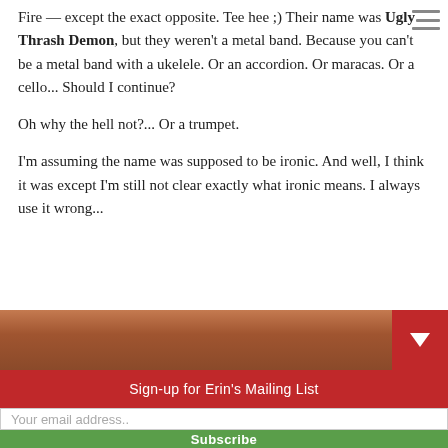Fire — except the exact opposite. Tee hee ;) Their name was Ugly Thrash Demon, but they weren't a metal band. Because you can't be a metal band with a ukelele. Or an accordion. Or maracas. Or a cello... Should I continue?
Oh why the hell not?... Or a trumpet.
I'm assuming the name was supposed to be ironic. And well, I think it was except I'm still not clear exactly what ironic means. I always use it wrong...
[Figure (photo): A partial photo strip showing what appears to be an outdoor scene]
Sign-up for Erin's Mailing List
Your email address..
Subscribe